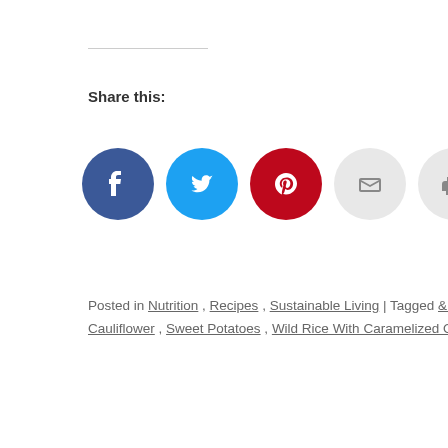Share this:
[Figure (infographic): Social sharing buttons: Facebook (dark blue circle), Twitter (light blue circle), Pinterest (red circle), Email (light grey circle), Print (light grey circle)]
Posted in Nutrition, Recipes, Sustainable Living | Tagged & Cranberries, Mar... Cauliflower, Sweet Potatoes, Wild Rice With Caramelized Onions and Mushr...